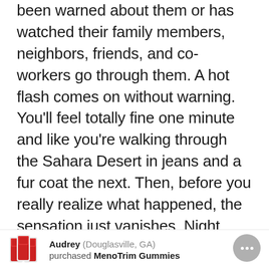been warned about them or has watched their family members, neighbors, friends, and co-workers go through them. A hot flash comes on without warning. You'll feel totally fine one minute and like you're walking through the Sahara Desert in jeans and a fur coat the next. Then, before you really realize what happened, the sensation just vanishes. Night sweats are another related and not-so-fun issue. You don't even know that you're sweating until you wake up drenched and shivering. These are just a couple more of the joys that menopause brings.
Audrey (Douglasville, GA) purchased MenoTrim Gummies